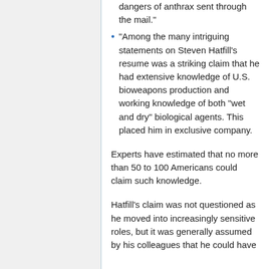dangers of anthrax sent through the mail."
"Among the many intriguing statements on Steven Hatfill's resume was a striking claim that he had extensive knowledge of U.S. bioweapons production and working knowledge of both "wet and dry" biological agents. This placed him in exclusive company.
Experts have estimated that no more than 50 to 100 Americans could claim such knowledge.
Hatfill's claim was not questioned as he moved into increasingly sensitive roles, but it was generally assumed by his colleagues that he could have